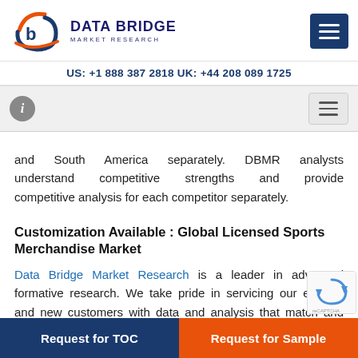DATA BRIDGE MARKET RESEARCH — US: +1 888 387 2818 UK: +44 208 089 1725
and South America separately. DBMR analysts understand competitive strengths and provide competitive analysis for each competitor separately.
Customization Available : Global Licensed Sports Merchandise Market
Data Bridge Market Research is a leader in advanced formative research. We take pride in servicing our existing and new customers with data and analysis that match and suits their goal. The report can be customised to include price trend analysis of